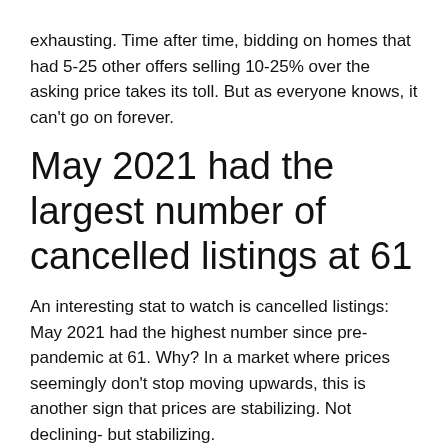exhausting. Time after time, bidding on homes that had 5-25 other offers selling 10-25% over the asking price takes its toll. But as everyone knows, it can't go on forever.
May 2021 had the largest number of cancelled listings at 61
An interesting stat to watch is cancelled listings: May 2021 had the highest number since pre-pandemic at 61. Why? In a market where prices seemingly don't stop moving upwards, this is another sign that prices are stabilizing. Not declining- but stabilizing.
When sellers decide to sell their house, they look at what has recently sold in their area. But as inventory rose in April, it gave buyers more choice and less competition on an